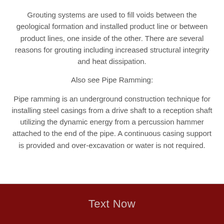Grouting systems are used to fill voids between the geological formation and installed product line or between product lines, one inside of the other. There are several reasons for grouting including increased structural integrity and heat dissipation.
Also see Pipe Ramming:
Pipe ramming is an underground construction technique for installing steel casings from a drive shaft to a reception shaft utilizing the dynamic energy from a percussion hammer attached to the end of the pipe. A continuous casing support is provided and over-excavation or water is not required.
Text Now